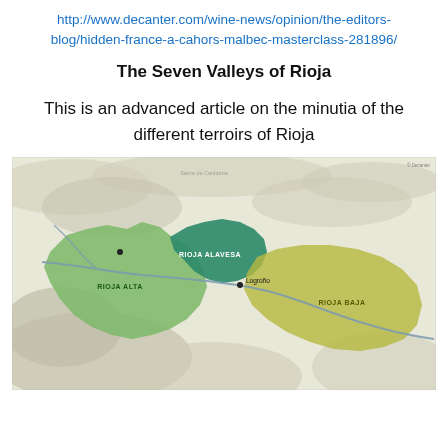http://www.decanter.com/wine-news/opinion/the-editors-blog/hidden-france-a-cahors-malbec-masterclass-281896/
The Seven Valleys of Rioja
This is an advanced article on the minutia of the different terroirs of Rioja
[Figure (map): Map of the Rioja wine regions showing Rioja Alta (light green), Rioja Alavesa (dark green), and Rioja Baja (yellow-green/olive), with a river running through the area and surrounding topography in muted beige/grey tones.]